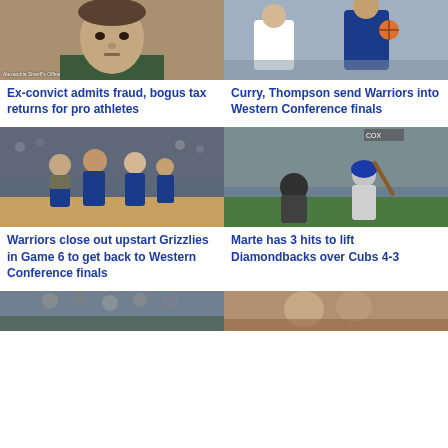[Figure (photo): Mugshot photo of a man, Alexandria Sheriff's Office watermark]
Ex-convict admits fraud, bogus tax returns for pro athletes
[Figure (photo): Basketball action photo showing Warriors players including Curry and Thompson]
Curry, Thompson send Warriors into Western Conference finals
[Figure (photo): Golden State Warriors players running on court in blue uniforms]
Warriors close out upstart Grizzlies in Game 6 to get back to Western Conference finals
[Figure (photo): Baseball player batting at a stadium, catcher in frame, COX advertising visible]
Marte has 3 hits to lift Diamondbacks over Cubs 4-3
[Figure (photo): Partial bottom row photo left, crowd scene]
[Figure (photo): Partial bottom row photo right]